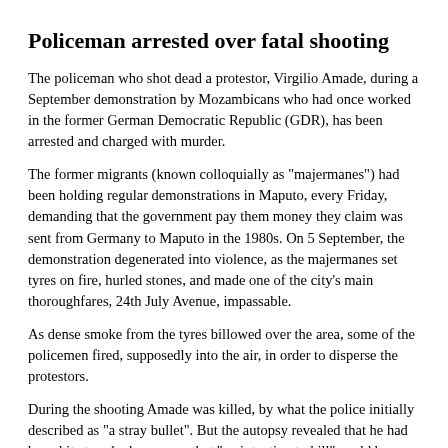Policeman arrested over fatal shooting
The policeman who shot dead a protestor, Virgilio Amade, during a September demonstration by Mozambicans who had once worked in the former German Democratic Republic (GDR), has been arrested and charged with murder.
The former migrants (known colloquially as "majermanes") had been holding regular demonstrations in Maputo, every Friday, demanding that the government pay them money they claim was sent from Germany to Maputo in the 1980s. On 5 September, the demonstration degenerated into violence, as the majermanes set tyres on fire, hurled stones, and made one of the city's main thoroughfares, 24th July Avenue, impassable.
As dense smoke from the tyres billowed over the area, some of the policemen fired, supposedly into the air, in order to disperse the protestors.
During the shooting Amade was killed, by what the police initially described as "a stray bullet". But the autopsy revealed that he had been hit at such close range that "an intention to kill" could be presumed.